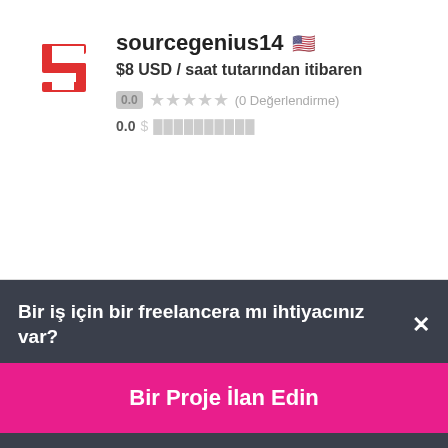[Figure (logo): sourcegenius14 user logo - red stylized S letter mark icon]
sourcegenius14 🇺🇸
$8 USD / saat tutarından itibaren
0.0 ★★★★★ (0 Değerlendirme)
0.0 $ ██████████
[Figure (photo): Profile photo of maleslie2019 - woman sitting in car]
maleslie2019 🇵🇭
Bir iş için bir freelancera mı ihtiyacınız var? ×
Bir Proje İlan Edin